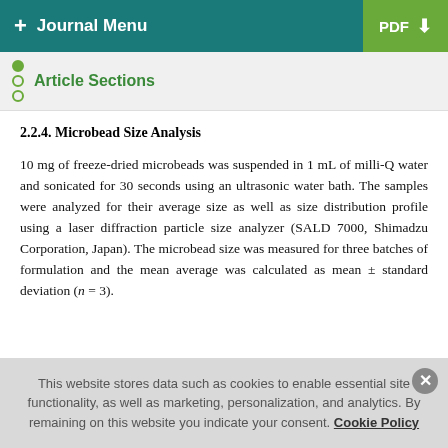+ Journal Menu  PDF ↓
Article Sections
2.2.4. Microbead Size Analysis
10 mg of freeze-dried microbeads was suspended in 1 mL of milli-Q water and sonicated for 30 seconds using an ultrasonic water bath. The samples were analyzed for their average size as well as size distribution profile using a laser diffraction particle size analyzer (SALD 7000, Shimadzu Corporation, Japan). The microbead size was measured for three batches of formulation and the mean average was calculated as mean ± standard deviation (n = 3).
This website stores data such as cookies to enable essential site functionality, as well as marketing, personalization, and analytics. By remaining on this website you indicate your consent. Cookie Policy